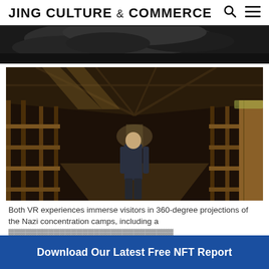JING CULTURE & COMMERCE
[Figure (photo): Dark overhead view of rocky/cave-like surface, top banner strip image]
[Figure (photo): Interior of a Nazi concentration camp barracks at Auschwitz, showing wooden bunk beds lining long hallway, with a person standing in the middle of the aisle]
Both VR experiences immerse visitors in 360-degree projections of the Nazi concentration camps, including a [partially visible text below]
Download Our Latest Free NFT Report